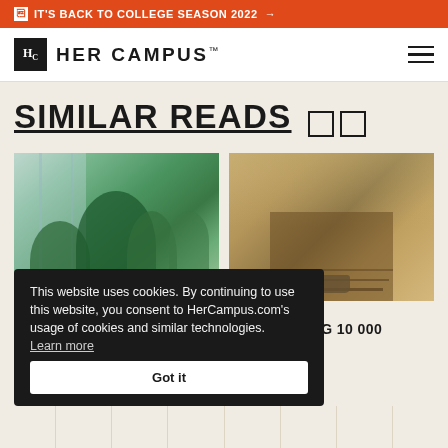IT'S BACK TO COLLEGE SEASON 2022 →
[Figure (logo): Her Campus logo with Hc monogram and HER CAMPUS wordmark]
SIMILAR READS □□
[Figure (photo): Indoor plants on a shelf near a window]
[Figure (photo): Person walking on a wooden boardwalk path through nature, seen from behind at foot level]
HEALTH
TRIED TAKING 10 000
This website uses cookies. By continuing to use this website, you consent to HerCampus.com's usage of cookies and similar technologies. Learn more
Got it